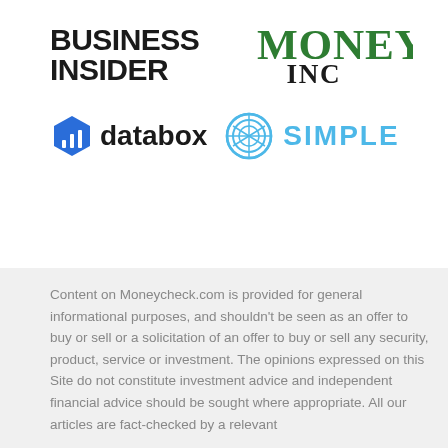[Figure (logo): Business Insider logo (bold uppercase text), Money Inc logo (stylized green serif text), Databox logo (blue hexagon icon with bar chart + 'databox' text), Simple logo (blue circular wire-frame icon + 'SIMPLE' text)]
Content on Moneycheck.com is provided for general informational purposes, and shouldn't be seen as an offer to buy or sell or a solicitation of an offer to buy or sell any security, product, service or investment. The opinions expressed on this Site do not constitute investment advice and independent financial advice should be sought where appropriate. All our articles are fact-checked by a relevant